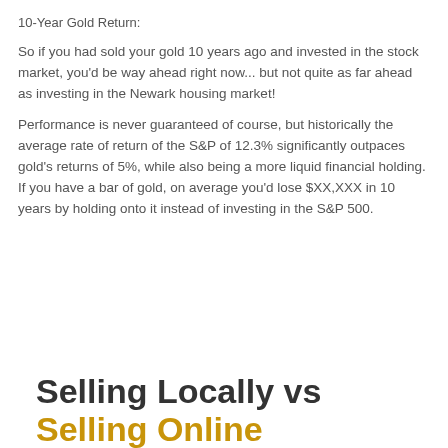10-Year Gold Return:
So if you had sold your gold 10 years ago and invested in the stock market, you'd be way ahead right now... but not quite as far ahead as investing in the Newark housing market!
Performance is never guaranteed of course, but historically the average rate of return of the S&P of 12.3% significantly outpaces gold's returns of 5%, while also being a more liquid financial holding. If you have a bar of gold, on average you'd lose $XX,XXX in 10 years by holding onto it instead of investing in the S&P 500.
Selling Locally vs Selling Online